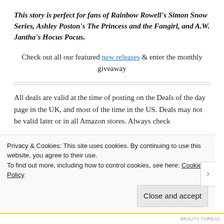This story is perfect for fans of Rainbow Rowell's Simon Snow Series, Ashley Poston's The Princess and the Fangirl, and A.W. Jantha's Hocus Pocus.
Check out all our featured new releases & enter the monthly giveaway
All deals are valid at the time of posting on the Deals of the day page in the UK, and most of the time in the US. Deals may not be valid later or in all Amazon stores. Always check
Privacy & Cookies: This site uses cookies. By continuing to use this website, you agree to their use.
To find out more, including how to control cookies, see here: Cookie Policy
Close and accept